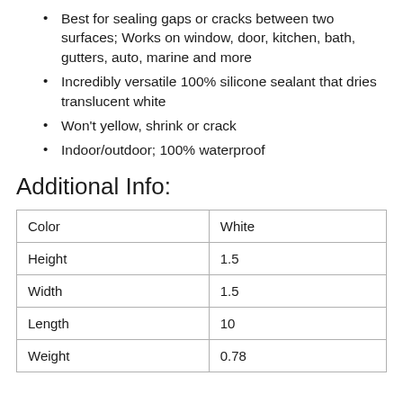Best for sealing gaps or cracks between two surfaces; Works on window, door, kitchen, bath, gutters, auto, marine and more
Incredibly versatile 100% silicone sealant that dries translucent white
Won't yellow, shrink or crack
Indoor/outdoor; 100% waterproof
Additional Info:
| Color | White |
| --- | --- |
| Height | 1.5 |
| Width | 1.5 |
| Length | 10 |
| Weight | 0.78 |